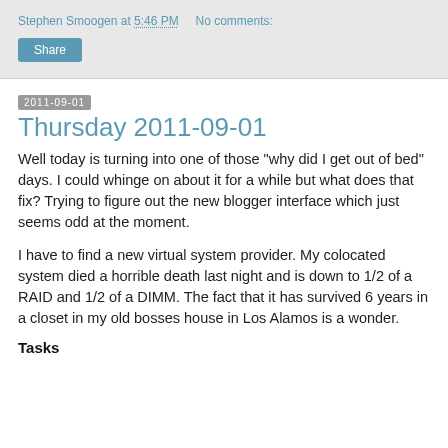Stephen Smoogen at 5:46 PM    No comments:
Share
2011-09-01
Thursday 2011-09-01
Well today is turning into one of those "why did I get out of bed" days. I could whinge on about it for a while but what does that fix? Trying to figure out the new blogger interface which just seems odd at the moment.
I have to find a new virtual system provider. My colocated system died a horrible death last night and is down to 1/2 of a RAID and 1/2 of a DIMM. The fact that it has survived 6 years in a closet in my old bosses house in Los Alamos is a wonder.
Tasks
...